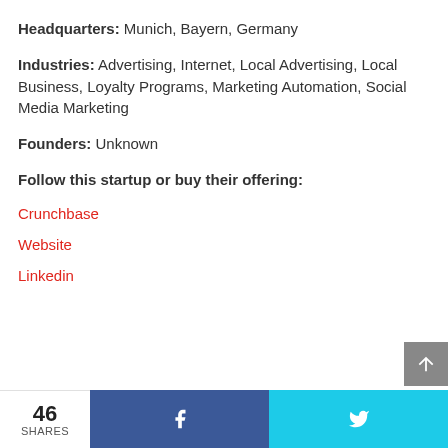Headquarters: Munich, Bayern, Germany
Industries: Advertising, Internet, Local Advertising, Local Business, Loyalty Programs, Marketing Automation, Social Media Marketing
Founders: Unknown
Follow this startup or buy their offering:
Crunchbase
Website
Linkedin
46 SHARES  [Facebook share]  [Twitter share]